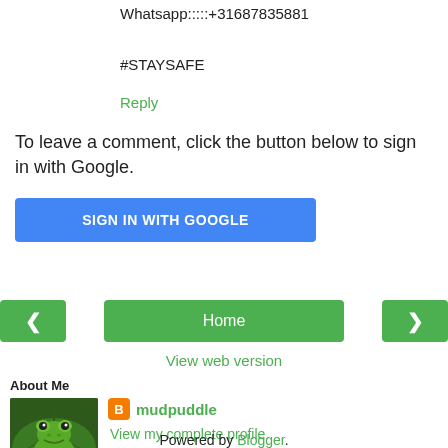Whatsapp:::::+31687835881
#STAYSAFE
Reply
To leave a comment, click the button below to sign in with Google.
SIGN IN WITH GOOGLE
[Figure (screenshot): Navigation row with green left arrow button, green Home button, and green right arrow button]
View web version
About Me
[Figure (photo): Photo of a green frog sitting on a large leaf]
mudpuddle
View my complete profile
Powered by Blogger.